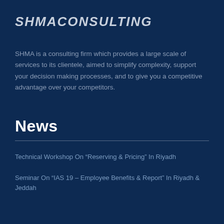SHMACONSULTING
SHMA is a consulting firm which provides a large scale of services to its clientele, aimed to simplify complexity, support your decision making processes, and to give you a competitive advantage over your competitors.
News
Technical Workshop On “Reserving & Pricing” In Riyadh
Seminar On “IAS 19 – Employee Benefits & Report” In Riyadh & Jeddah